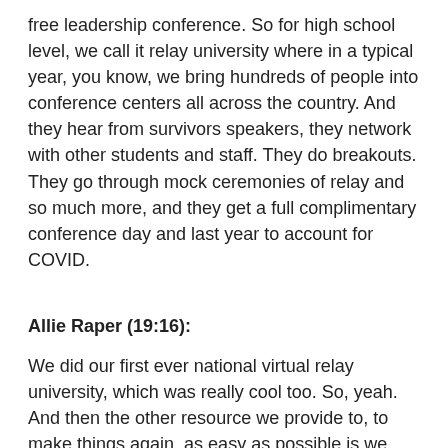free leadership conference. So for high school level, we call it relay university where in a typical year, you know, we bring hundreds of people into conference centers all across the country. And they hear from survivors speakers, they network with other students and staff. They do breakouts. They go through mock ceremonies of relay and so much more, and they get a full complimentary conference day and last year to account for COVID.
Allie Raper (19:16):
We did our first ever national virtual relay university, which was really cool too. So, yeah. And then the other resource we provide to, to make things again, as easy as possible is we provide a full Google drive full of resources. So instead of having a student, you know, try to create a, to do list themselves, we've got a committee structure of 10 outlined or suggested roles